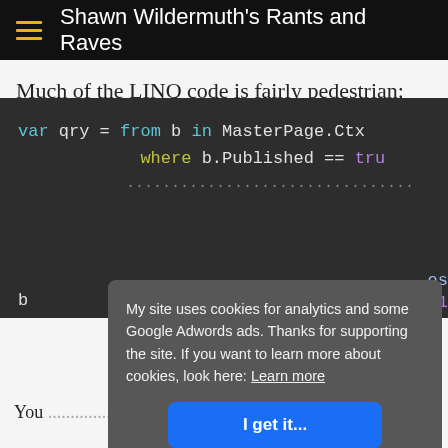Shawn Wildermuth's Rants and Raves
Much of the LINQ code is fairly pedestrian:
[Figure (screenshot): Dark-themed code editor block showing LINQ query: var qry = from b in MasterPage.Ctx where b.Published == tru... (truncated by cookie banner)]
My site uses cookies for analytics and some Google Adwords ads. Thanks for supporting the site. If you want to learn more about cookies, look here: Learn more
You ... ge